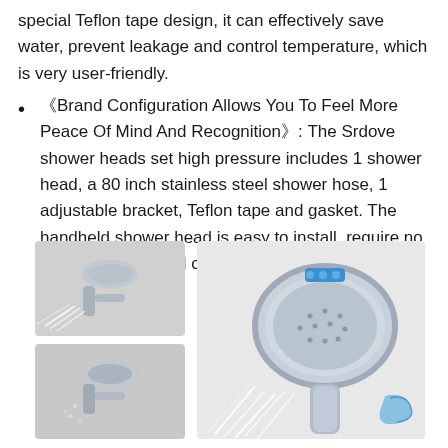special Teflon tape design, it can effectively save water, prevent leakage and control temperature, which is very user-friendly.
《Brand Configuration Allows You To Feel More Peace Of Mind And Recognition》: The Srdove shower heads set high pressure includes 1 shower head, a 80 inch stainless steel shower hose, 1 adjustable bracket, Teflon tape and gasket. The handheld shower head is easy to install, require no additional tools and can be done in minutes.
[Figure (photo): Product photos of a chrome handheld shower head shown from multiple angles, including close-up views of the shower head spraying water, and a larger image showing the full shower head with blue accent buttons.]